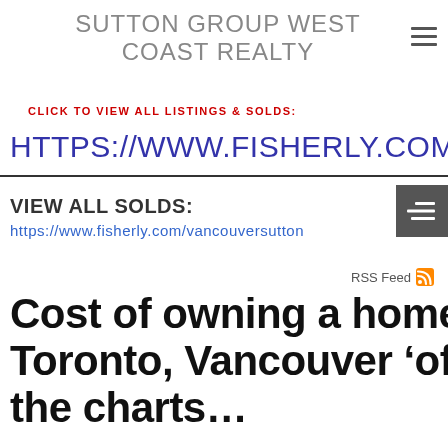SUTTON GROUP WEST COAST REALTY
CLICK TO VIEW ALL LISTINGS & SOLDS:
HTTPS://WWW.FISHERLY.COM/
VIEW ALL SOLDS: https://www.fisherly.com/vancouversutton
RSS Feed
Cost of owning a home in Toronto, Vancouver 'off the charts, and likely to